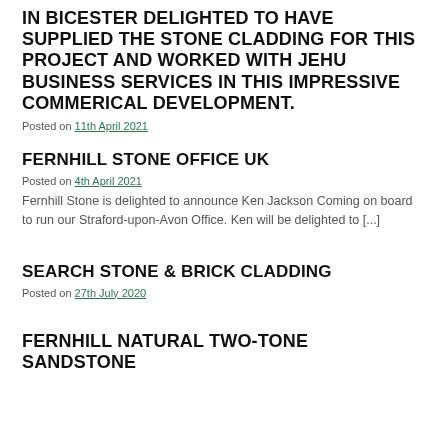IN BICESTER DELIGHTED TO HAVE SUPPLIED THE STONE CLADDING FOR THIS PROJECT AND WORKED WITH JEHU BUSINESS SERVICES IN THIS IMPRESSIVE COMMERICAL DEVELOPMENT.
Posted on 11th April 2021
FERNHILL STONE OFFICE UK
Posted on 4th April 2021
Fernhill Stone is delighted to announce Ken Jackson Coming on board to run our Straford-upon-Avon Office. Ken will be delighted to [...]
SEARCH STONE & BRICK CLADDING
Posted on 27th July 2020
FERNHILL NATURAL TWO-TONE SANDSTONE